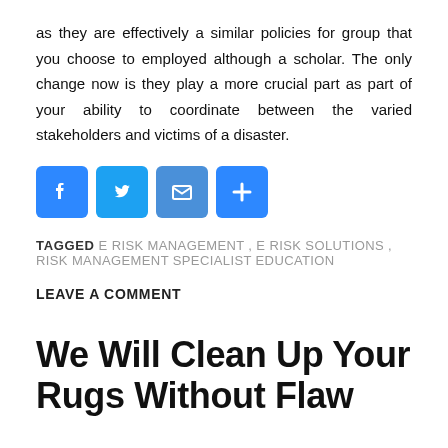as they are effectively a similar policies for group that you choose to employed although a scholar. The only change now is they play a more crucial part as part of your ability to coordinate between the varied stakeholders and victims of a disaster.
[Figure (other): Social share buttons: Facebook (blue), Twitter (blue), Email (blue), Plus/More (blue)]
TAGGED E RISK MANAGEMENT , E RISK SOLUTIONS , RISK MANAGEMENT SPECIALIST EDUCATION
LEAVE A COMMENT
We Will Clean Up Your Rugs Without Flaw